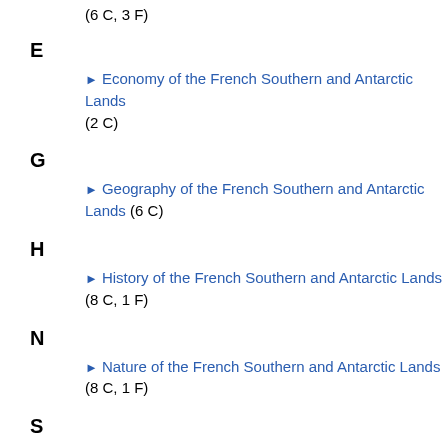(6 C, 3 F)
E
► Economy of the French Southern and Antarctic Lands (2 C)
G
► Geography of the French Southern and Antarctic Lands (6 C)
H
► History of the French Southern and Antarctic Lands (8 C, 1 F)
N
► Nature of the French Southern and Antarctic Lands (8 C, 1 F)
S